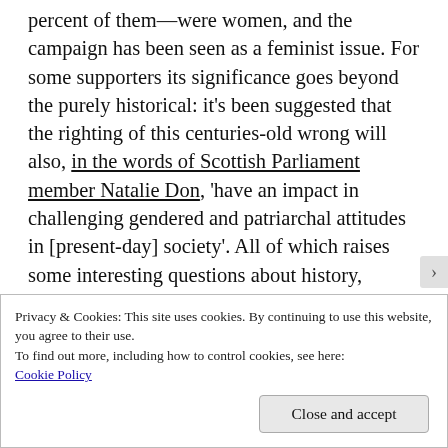percent of them—were women, and the campaign has been seen as a feminist issue. For some supporters its significance goes beyond the purely historical: it's been suggested that the righting of this centuries-old wrong will also, in the words of Scottish Parliament member Natalie Don, 'have an impact in challenging gendered and patriarchal attitudes in [present-day] society'. All of which raises some interesting questions about history, politics and (for reasons I'll come to shortly)
Privacy & Cookies: This site uses cookies. By continuing to use this website, you agree to their use.
To find out more, including how to control cookies, see here: Cookie Policy
Close and accept